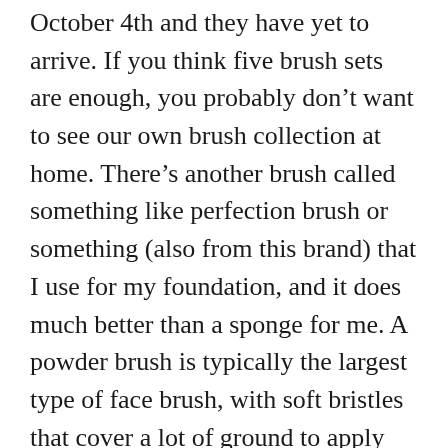October 4th and they have yet to arrive. If you think five brush sets are enough, you probably don't want to see our own brush collection at home. There's another brush called something like perfection brush or something (also from this brand) that I use for my foundation, and it does much better than a sponge for me. A powder brush is typically the largest type of face brush, with soft bristles that cover a lot of ground to apply powder evenly throughout the face. The quality of these brushes are excellent. It comes with a makeup sponge and four brushes, including a blending, crease, setting, and face brush. Use an oval brush to apply and blend foundation, or a Kabuki brush for powdered